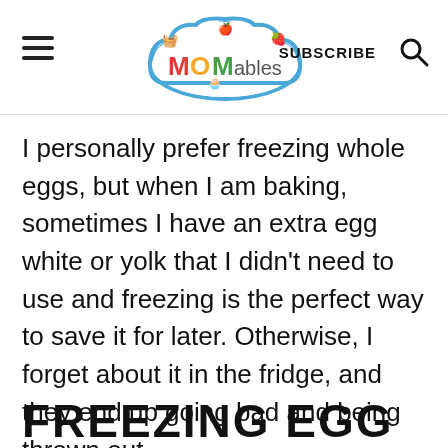MOMables | SUBSCRIBE
I personally prefer freezing whole eggs, but when I am baking, sometimes I have an extra egg white or yolk that I didn't need to use and freezing is the perfect way to save it for later. Otherwise, I forget about it in the fridge, and they end up going bad and being thrown out.
FREEZING EGG